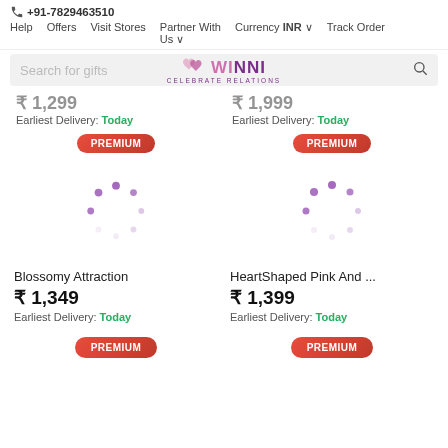+91-7829463510  Help  Offers  Visit Stores  Partner With Us  Currency INR  Track Order
[Figure (screenshot): Winni.in search bar with logo showing hearts and CELEBRATE RELATIONS tagline]
Earliest Delivery: Today
Earliest Delivery: Today
[Figure (other): PREMIUM badge above loading spinner for Blossomy Attraction product]
[Figure (other): PREMIUM badge above loading spinner for HeartShaped Pink And ... product]
Blossomy Attraction
₹ 1,349
Earliest Delivery: Today
HeartShaped Pink And ...
₹ 1,399
Earliest Delivery: Today
[Figure (other): PREMIUM badge at bottom left]
[Figure (other): PREMIUM badge at bottom right]